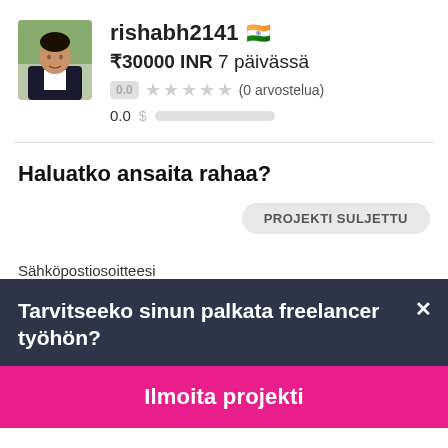[Figure (photo): Profile photo of rishabh2141, a man in a dark blazer, outdoors.]
rishabh2141 🇮🇳
₹30000 INR 7 päivässä
0.0 ★★★★★ (0 arvostelua)
0.0
Haluatko ansaita rahaa?
PROJEKTI SULJETTU
Sähköpostiosoitteesi
Tarvitseeko sinun palkata freelancer työhön?
Ilmoita projekti